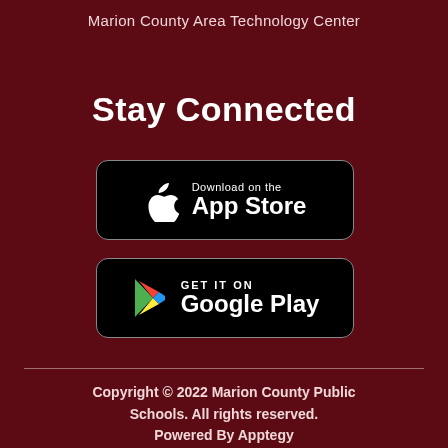Marion County Area Technology Center
Stay Connected
[Figure (logo): Apple App Store download button — black rounded rectangle with Apple logo icon and text 'Download on the App Store']
[Figure (logo): Google Play download button — black rounded rectangle with Google Play triangle logo and text 'GET IT ON Google Play']
Copyright © 2022 Marion County Public Schools. All rights reserved.
Powered By Apptegy